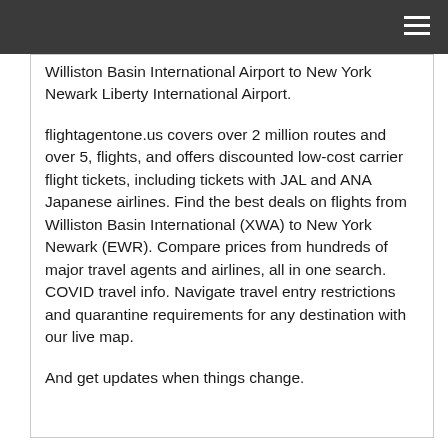Williston Basin International Airport to New York Newark Liberty International Airport.
flightagentone.us covers over 2 million routes and over 5, flights, and offers discounted low-cost carrier flight tickets, including tickets with JAL and ANA Japanese airlines. Find the best deals on flights from Williston Basin International (XWA) to New York Newark (EWR). Compare prices from hundreds of major travel agents and airlines, all in one search. COVID travel info. Navigate travel entry restrictions and quarantine requirements for any destination with our live map.
And get updates when things change.